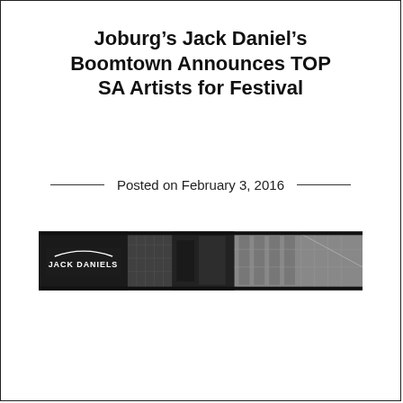Joburg’s Jack Daniel’s Boomtown Announces TOP SA Artists for Festival
Posted on February 3, 2016
[Figure (photo): Panoramic black and white banner photo showing a Jack Daniel's branded billboard/sign against an urban backdrop with buildings.]